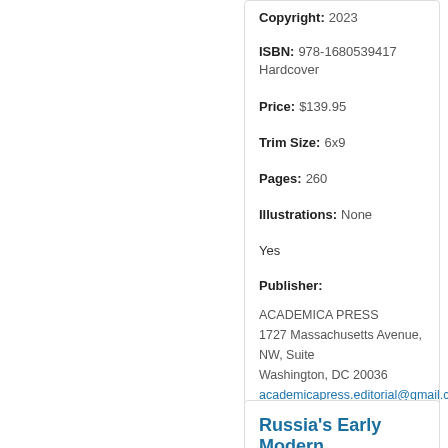Copyright: 2023
ISBN: 978-1680539417 Hardcover
Price: $139.95
Trim Size: 6x9
Pages: 260
Illustrations: None
Yes
Publisher:
ACADEMICA PRESS
1727 Massachusetts Avenue, NW, Suite
Washington, DC 20036
academicapress.editorial@gmail.com
History   Political Science   Religion
Russia's Early Modern